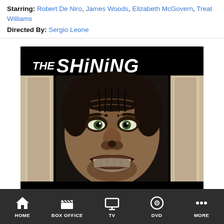Starring: Robert De Niro, James Woods, Elizabeth McGovern, Treat Williams
Directed By: Sergio Leone
[Figure (photo): Movie poster for The Shining (1980) showing a man's menacing face peering through a broken door with 'THE SHiNiNG' text at the top]
THE SHINING (1980)
HOME | BOX OFFICE | TV | DVD | MORE